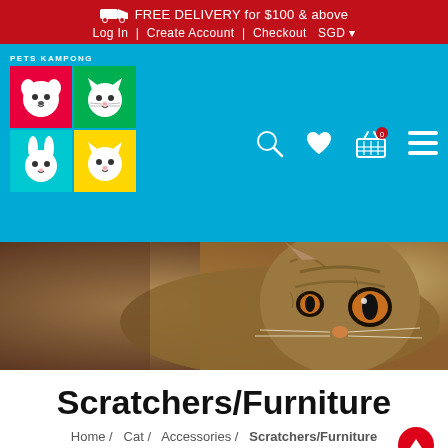FREE DELIVERY for $100 & above
Log In | Create Account | Checkout SGD
[Figure (logo): Pets Kampong logo with 4-color grid of cartoon pet faces]
[Figure (photo): Close-up photo of a tabby cat lying on its side looking at camera]
Scratchers/Furniture
Home / Cat / Accessories / Scratchers/Furniture
Categories